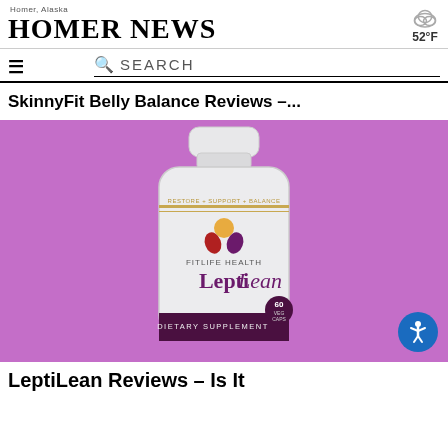Homer News — Homer, Alaska — 52°F
SkinnyFit Belly Balance Reviews –...
[Figure (photo): Product photo of FitLife Health LeptiLean dietary supplement bottle (60 veg caps) on a purple background. Label reads: RESTORE + SUPPORT + BALANCE, FITLIFE HEALTH, LeptiLean, 60 VEG CAPS, DIETARY SUPPLEMENT.]
LeptiLean Reviews – Is It